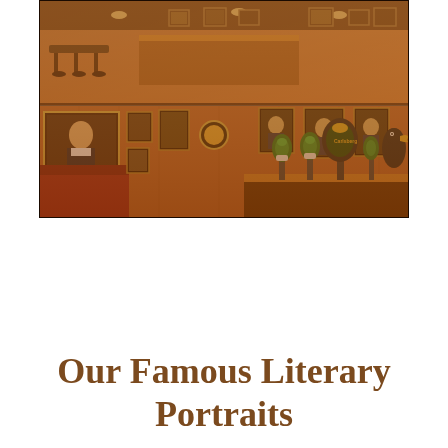[Figure (photo): Interior of a traditional British pub with warm amber/red tones. The image shows a composite of two views: the upper portion shows the pub interior with wooden tables, stools, and bar area with framed pictures on the walls. The lower portion shows a closer view with framed portrait paintings on the walls (including a large oil portrait of a man on the left), red leather seating, beer tap handles (Carlsberg and others) at the bar, and numerous framed photographs and paintings covering the wood-paneled walls.]
Our Famous Literary Portraits